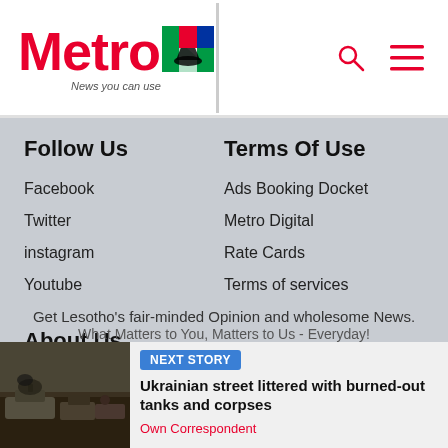Metro — News you can use
Follow Us
Facebook
Twitter
instagram
Youtube
Terms Of Use
Ads Booking Docket
Metro Digital
Rate Cards
Terms of services
About Us
Metro Profile
Distribution Enquiry
Donate
Get Lesotho's fair-minded Opinion and wholesome News. What Matters to You, Matters to Us - Everyday!
NEXT STORY
Ukrainian street littered with burned-out tanks and corpses
Own Correspondent